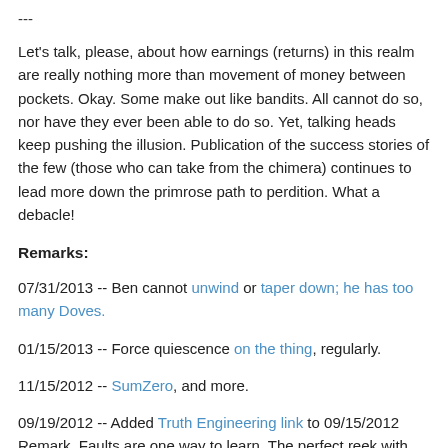---
Let's talk, please, about how earnings (returns) in this realm are really nothing more than movement of money between pockets. Okay. Some make out like bandits. All cannot do so, nor have they ever been able to do so. Yet, talking heads keep pushing the illusion. Publication of the success stories of the few (those who can take from the chimera) continues to lead more down the primrose path to perdition. What a debacle!
Remarks:
07/31/2013 -- Ben cannot unwind or taper down; he has too many Doves.
01/15/2013 -- Force quiescence on the thing, regularly.
11/15/2012 -- SumZero, and more.
09/19/2012 -- Added Truth Engineering link to 09/15/2012 Remark. Faults are one way to learn. The perfect reek with